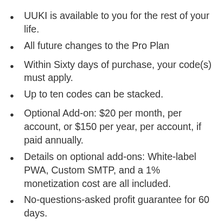UUKI is available to you for the rest of your life.
All future changes to the Pro Plan
Within Sixty days of purchase, your code(s) must apply.
Up to ten codes can be stacked.
Optional Add-on: $20 per month, per account, or $150 per year, per account, if paid annually.
Details on optional add-ons: White-label PWA, Custom SMTP, and a 1% monetization cost are all included.
No-questions-asked profit guarantee for 60 days.